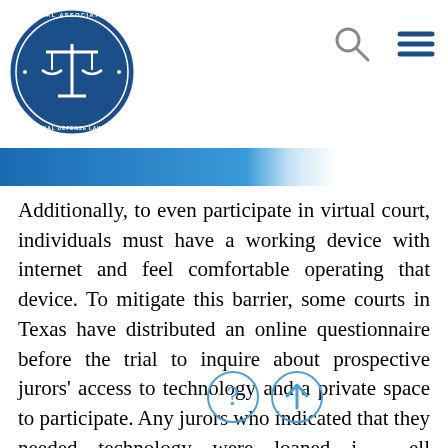[Figure (logo): National Association of Criminal Defense Lawyers circular logo with scales of justice on blue background]
[Figure (other): Navigation bar with search icon and hamburger menu icon]
[Figure (other): Blue gradient banner bar]
Additionally, to even participate in virtual court, individuals must have a working device with internet and feel comfortable operating that device. To mitigate this barrier, some courts in Texas have distributed an online questionnaire before the trial to inquire about prospective jurors' access to technology and a private space to participate. Any jurors who indicated that they needed technology were loaned iPad with cell service.
[Figure (other): Two circular icon buttons: a question mark icon and an upward arrow icon]